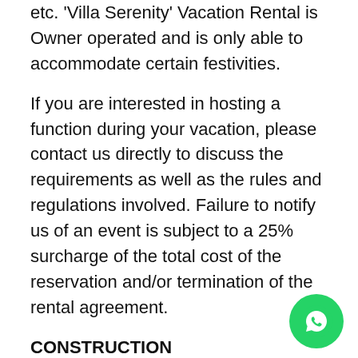etc. 'Villa Serenity' Vacation Rental is Owner operated and is only able to accommodate certain festivities.
If you are interested in hosting a function during your vacation, please contact us directly to discuss the requirements as well as the rules and regulations involved. Failure to notify us of an event is subject to a 25% surcharge of the total cost of the reservation and/or termination of the rental agreement.
CONSTRUCTION
In the event of neighboring construction, Villa Serenity Rental shall not be held responsible to provide any type of advance notification to incoming guests, as we do not receive any of notification of new or ongoing construction